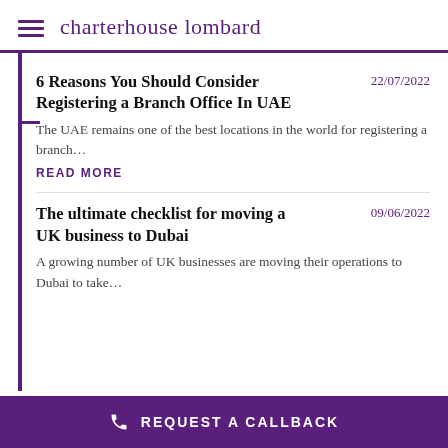charterhouse lombard
6 Reasons You Should Consider Registering a Branch Office In UAE
The UAE remains one of the best locations in the world for registering a branch…
READ MORE
The ultimate checklist for moving a UK business to Dubai
A growing number of UK businesses are moving their operations to Dubai to take…
REQUEST A CALLBACK